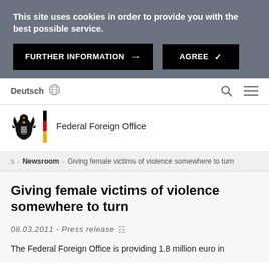This site uses cookies in order to provide you with the best possible service.
FURTHER INFORMATION →
AGREE ✓
Deutsch
[Figure (logo): Federal Foreign Office logo with German eagle, black-red-gold stripe, and text 'Federal Foreign Office']
s › Newsroom › Giving female victims of violence somewhere to turn
Giving female victims of violence somewhere to turn
08.03.2011 - Press release
The Federal Foreign Office is providing 1.8 million euro in